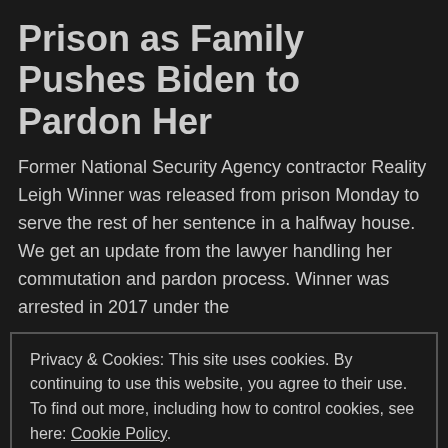Prison as Family Pushes Biden to Pardon Her
Former National Security Agency contractor Reality Leigh Winner was released from prison Monday to serve the rest of her sentence in a halfway house. We get an update from the lawyer handling her commutation and pardon process. Winner was arrested in 2017 under the
Privacy & Cookies: This site uses cookies. By continuing to use this website, you agree to their use. To find out more, including how to control cookies, see here: Cookie Policy
Close and accept
National Security, New York Times, NSA, Pardon, Prison, Putin